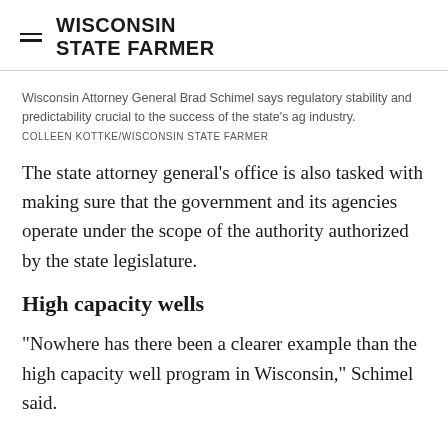WISCONSIN STATE FARMER
Wisconsin Attorney General Brad Schimel says regulatory stability and predictability crucial to the success of the state's ag industry.
COLLEEN KOTTKE/WISCONSIN STATE FARMER
The state attorney general's office is also tasked with making sure that the government and its agencies operate under the scope of the authority authorized by the state legislature.
High capacity wells
"Nowhere has there been a clearer example than the high capacity well program in Wisconsin," Schimel said.